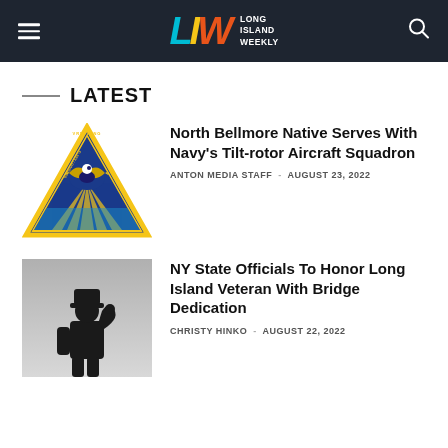Long Island Weekly
LATEST
North Bellmore Native Serves With Navy's Tilt-rotor Aircraft Squadron
ANTON MEDIA STAFF · AUGUST 23, 2022
NY State Officials To Honor Long Island Veteran With Bridge Dedication
CHRISTY HINKO · AUGUST 22, 2022